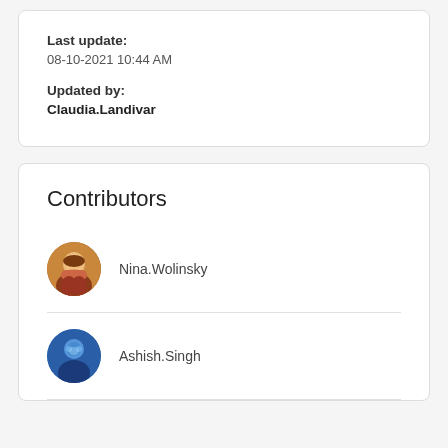Last update:
08-10-2021 10:44 AM
Updated by:
Claudia.Landivar
Contributors
Nina.Wolinsky
Ashish.Singh